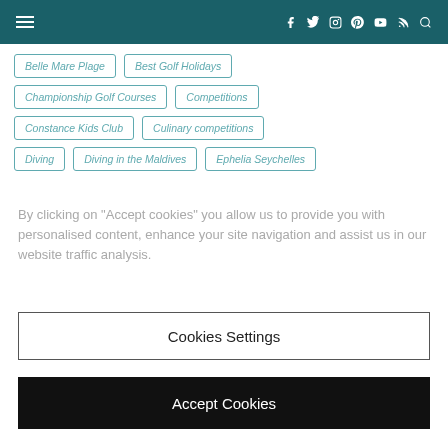Navigation header with hamburger menu and social icons (Facebook, Twitter, Instagram, Pinterest, YouTube, RSS, Search)
Belle Mare Plage
Best Golf Holidays
Championship Golf Courses
Competitions
Constance Kids Club
Culinary competitions
Diving
Diving in the Maldives
Ephelia Seychelles
By clicking on “Accept cookies” you allow us to provide you with personalised content, enhance your site navigation and assist us in our website traffic analysis.
Cookies Settings
Accept Cookies